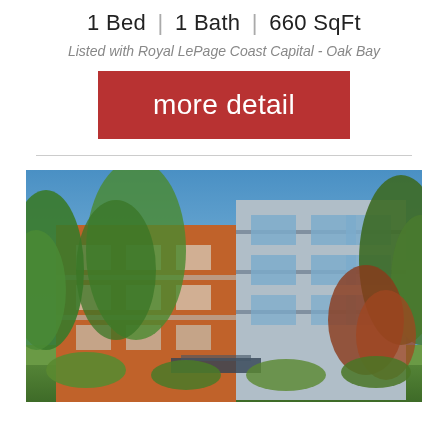1 Bed | 1 Bath | 660 SqFt
Listed with Royal LePage Coast Capital - Oak Bay
more detail
[Figure (photo): Exterior photo of a modern multi-story residential building with orange/red brick and glass facades, surrounded by green trees under a blue sky.]